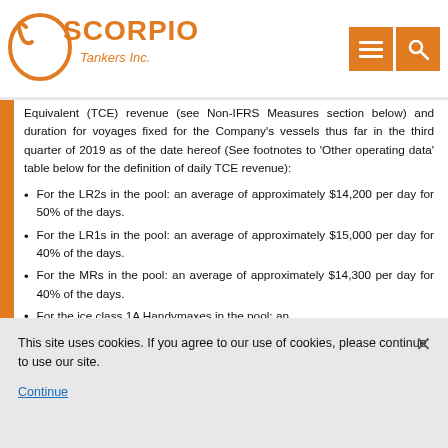[Figure (logo): Scorpio Tankers Inc. logo with orange scorpion graphic and orange/black text, and orange navigation buttons (menu and search icons) in the top right]
Equivalent (TCE) revenue (see Non-IFRS Measures section below) and duration for voyages fixed for the Company's vessels thus far in the third quarter of 2019 as of the date hereof (See footnotes to 'Other operating data' table below for the definition of daily TCE revenue):
For the LR2s in the pool: an average of approximately $14,200 per day for 50% of the days.
For the LR1s in the pool: an average of approximately $15,000 per day for 40% of the days.
For the MRs in the pool: an average of approximately $14,300 per day for 40% of the days.
For the ice class 1A Handymaxes in the pool: an
This site uses cookies. If you agree to our use of cookies, please continue to use our site.
Continue